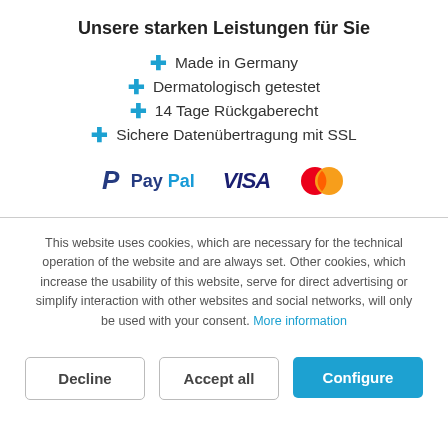Unsere starken Leistungen für Sie
Made in Germany
Dermatologisch getestet
14 Tage Rückgaberecht
Sichere Datenübertragung mit SSL
[Figure (logo): Payment method logos: PayPal, VISA, Mastercard]
This website uses cookies, which are necessary for the technical operation of the website and are always set. Other cookies, which increase the usability of this website, serve for direct advertising or simplify interaction with other websites and social networks, will only be used with your consent. More information
Decline | Accept all | Configure